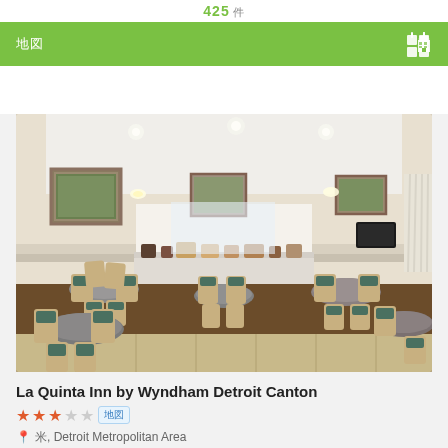425 件
[Figure (photo): Interior dining/breakfast room of La Quinta Inn showing round tables with light wood chairs with green seat cushions, framed artwork on beige walls, white ceiling with recessed lighting, breakfast buffet counter in background]
La Quinta Inn by Wyndham Detroit Canton
★★★☆☆  [地図]
📍 米, Detroit Metropolitan Area